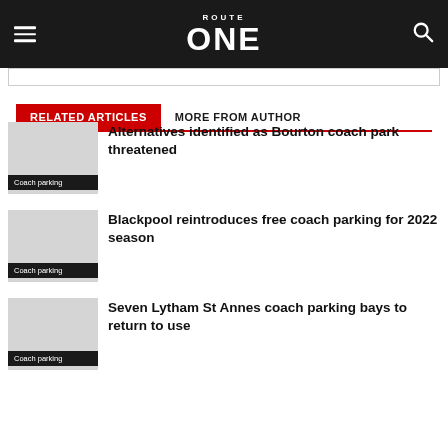ROUTE ONE
RELATED ARTICLES | MORE FROM AUTHOR
Alternatives identified as Bourton coach park threatened
Coach parking
Blackpool reintroduces free coach parking for 2022 season
Coach parking
Seven Lytham St Annes coach parking bays to return to use
Coach parking